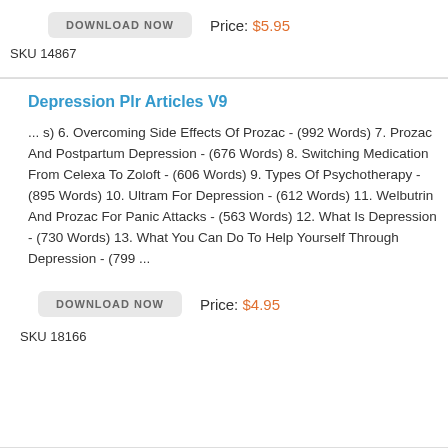DOWNLOAD NOW   Price: $5.95
SKU 14867
Depression Plr Articles V9
... s) 6. Overcoming Side Effects Of Prozac - (992 Words) 7. Prozac And Postpartum Depression - (676 Words) 8. Switching Medication From Celexa To Zoloft - (606 Words) 9. Types Of Psychotherapy - (895 Words) 10. Ultram For Depression - (612 Words) 11. Welbutrin And Prozac For Panic Attacks - (563 Words) 12. What Is Depression - (730 Words) 13. What You Can Do To Help Yourself Through Depression - (799 ...
DOWNLOAD NOW   Price: $4.95
SKU 18166